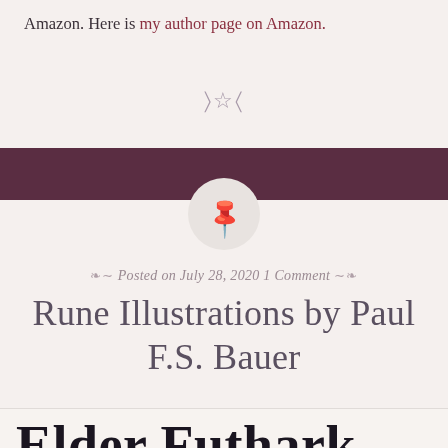Amazon. Here is my author page on Amazon.
[Figure (other): Decorative divider with moon and star symbols: )☆(]
[Figure (other): Dark maroon horizontal bar divider]
[Figure (other): Light grey circle with a pushpin/thumbtack icon inside]
Posted on July 28, 2020 1 Comment
Rune Illustrations by Paul F.S. Bauer
Elder Futhark Runes